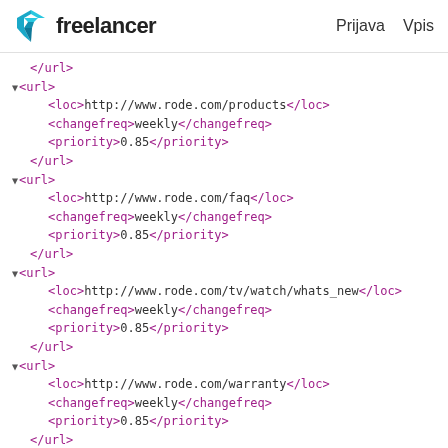Freelancer  Prijava  Vpis
</url>
▼<url>
  <loc>http://www.rode.com/products</loc>
  <changefreq>weekly</changefreq>
  <priority>0.85</priority>
</url>
▼<url>
  <loc>http://www.rode.com/faq</loc>
  <changefreq>weekly</changefreq>
  <priority>0.85</priority>
</url>
▼<url>
  <loc>http://www.rode.com/tv/watch/whats_new</loc>
  <changefreq>weekly</changefreq>
  <priority>0.85</priority>
</url>
▼<url>
  <loc>http://www.rode.com/warranty</loc>
  <changefreq>weekly</changefreq>
  <priority>0.85</priority>
</url>
▼<url>
  <loc>http://www.rode.com/login</loc>
  <changefreq>weekly</changefreq>
  <priority>0.85</priority>
</url>
▼<url>
  <loc>http://www.rode.com/wheretobuy</loc>